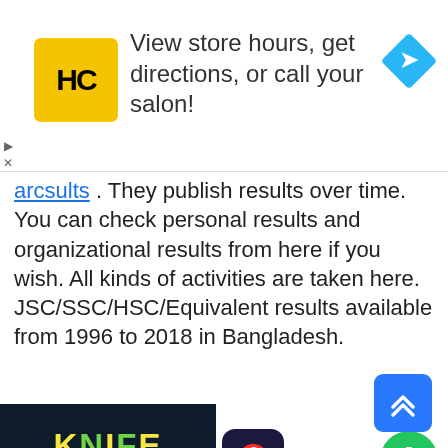[Figure (screenshot): Advertisement banner for Hair Club salon app showing yellow HC logo, text 'View store hours, get directions, or call your salon!' and a blue navigation arrow icon]
results . They publish results over time. You can check personal results and organizational results from here if you wish. All kinds of activities are taken here. JSC/SSC/HSC/Equivalent results available from 1996 to 2018 in Bangladesh.
[Figure (screenshot): Advertisement for Knife Hit mobile game showing game banner image, app icon, 'Knife Hit' label, and a green download button with ad timer badge]
[Figure (other): Blue scroll-to-top button with double upward chevron arrows in bottom right corner]